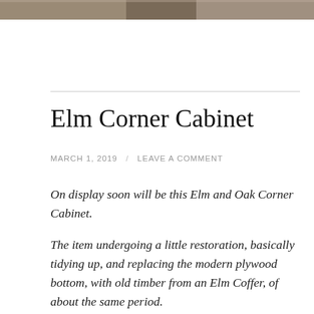[Figure (photo): Partial image strip at the top of the page, showing a cropped photograph]
Elm Corner Cabinet
MARCH 1, 2019 / LEAVE A COMMENT
On display soon will be this Elm and Oak Corner Cabinet.
The item undergoing a little restoration, basically tidying up, and replacing the modern plywood bottom, with old timber from an Elm Coffer, of about the same period.